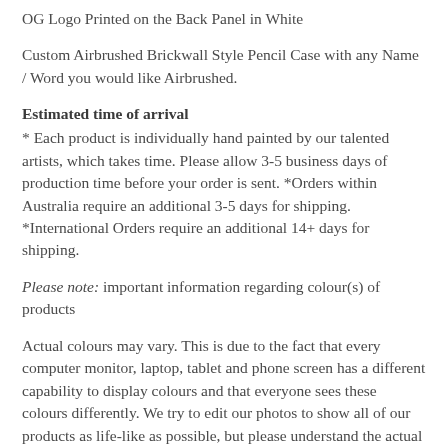OG Logo Printed on the Back Panel in White
Custom Airbrushed Brickwall Style Pencil Case with any Name / Word you would like Airbrushed.
Estimated time of arrival
* Each product is individually hand painted by our talented artists, which takes time. Please allow 3-5 business days of production time before your order is sent. *Orders within Australia require an additional 3-5 days for shipping. *International Orders require an additional 14+ days for shipping.
Please note: important information regarding colour(s) of products
Actual colours may vary. This is due to the fact that every computer monitor, laptop, tablet and phone screen has a different capability to display colours and that everyone sees these colours differently. We try to edit our photos to show all of our products as life-like as possible, but please understand the actual colour may vary slightly from your